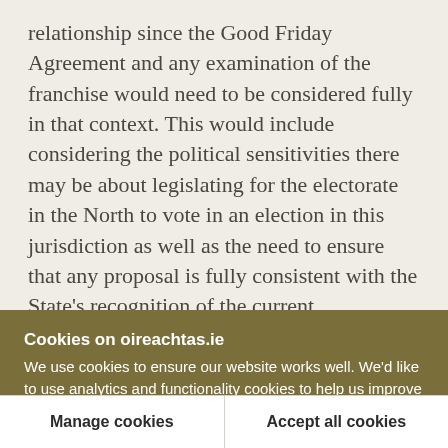relationship since the Good Friday Agreement and any examination of the franchise would need to be considered fully in that context. This would include considering the political sensitivities there may be about legislating for the electorate in the North to vote in an election in this jurisdiction as well as the need to ensure that any proposal is fully consistent with the State's recognition of the current constitutional status of Northern Ireland.
More generally, extending the franchise at
Cookies on oireachtas.ie
We use cookies to ensure our website works well. We'd like to use analytics and functionality cookies to help us improve it but we require your consent to do so. If you don't consent, only necessary cookies will be used. Read more about our cookies
Manage cookies
Accept all cookies